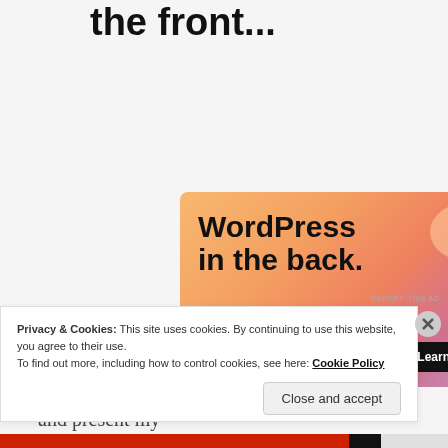the front...
[Figure (illustration): WordPress VIP advertisement banner with orange-pink gradient background. Large bold text reads 'WordPress in the back.' with WordPress VIP logo on bottom left and 'Learn more →' button on bottom right.]
REPORT THIS AD
I am very sorry to each and everyone out there, if I happen to miss your post sometime in future. I will try my very best to read them and present my
Privacy & Cookies: This site uses cookies. By continuing to use this website, you agree to their use.
To find out more, including how to control cookies, see here: Cookie Policy
Close and accept